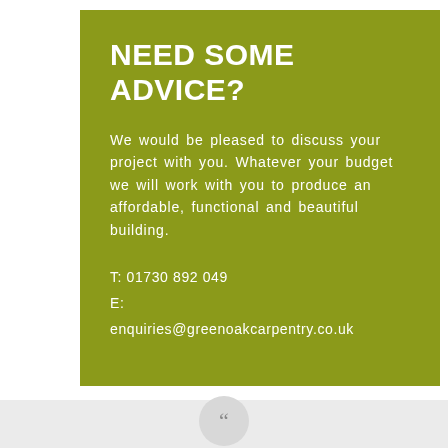NEED SOME ADVICE?
We would be pleased to discuss your project with you. Whatever your budget we will work with you to produce an affordable, functional and beautiful building.
T: 01730 892 049
E:
enquiries@greenoakcarpentry.co.uk
[Figure (illustration): Opening quotation mark icon inside a circular gray badge at the bottom center of the page]